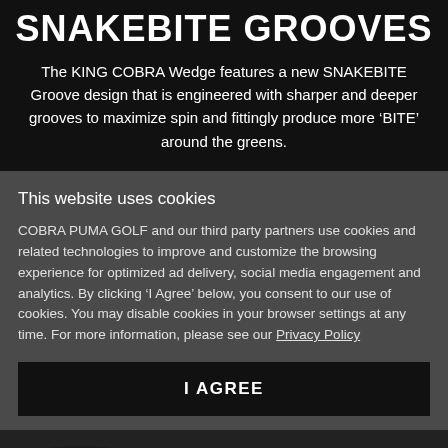SNAKEBITE GROOVES
The KING COBRA Wedge features a new SNAKEBITE Groove design that is engineered with sharper and deeper grooves to maximize spin and fittingly produce more ‘BITE’ around the greens.
This website uses cookies
COBRA PUMA GOLF and our third party partners use cookies and related technologies to improve and customize the browsing experience for optimized ad delivery, social media engagement and analytics. By clicking ‘I Agree’ below, you consent to our use of cookies. You may disable cookies in your browser settings at any time. For more information, please see our Privacy Policy
I AGREE
[Figure (photo): Bottom portion showing a dark background with partial product image]